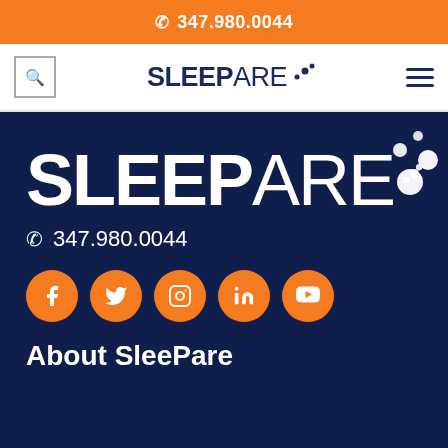☎ 347.980.0044
[Figure (logo): SleePare logo with stylized dots in navy and orange navigation bar]
[Figure (logo): Large SleePare logo in white on dark navy background with decorative dots]
☎ 347.980.0044
[Figure (infographic): Row of 5 orange circular social media icons: Facebook, Twitter, Instagram, LinkedIn, YouTube]
About SleePare